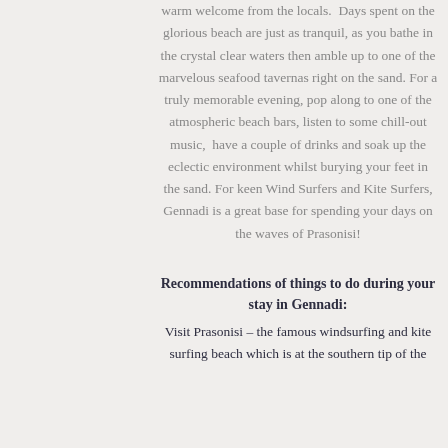warm welcome from the locals.  Days spent on the glorious beach are just as tranquil, as you bathe in the crystal clear waters then amble up to one of the marvelous seafood tavernas right on the sand. For a truly memorable evening, pop along to one of the atmospheric beach bars, listen to some chill-out music,  have a couple of drinks and soak up the eclectic environment whilst burying your feet in the sand. For keen Wind Surfers and Kite Surfers, Gennadi is a great base for spending your days on the waves of Prasonisi!
Recommendations of things to do during your stay in Gennadi:
Visit Prasonisi – the famous windsurfing and kite surfing beach which is at the southern tip of the